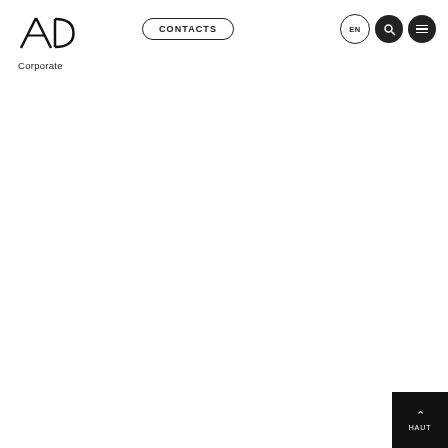AD Corporate | CONTACTS | EN
aberg@augustindebouty.com
Alexandra Berg-Moussa
HAUT